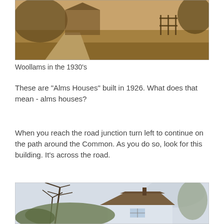[Figure (photo): Sepia-toned historical photograph of Woollams in the 1930s showing a large house with grounds and a path in the foreground]
Woollams in the 1930's
These are "Alms Houses" built in 1926. What does that mean - alms houses?
When you reach the road junction turn left to continue on the path around the Common. As you do so, look for this building. It's across the road.
[Figure (photo): Colour photograph of a thatched-roof cottage or building across the road, partially obscured by bare winter trees]